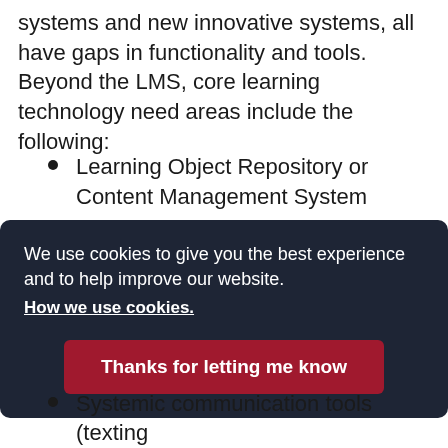systems and new innovative systems, all have gaps in functionality and tools. Beyond the LMS, core learning technology need areas include the following:
Learning Object Repository or Content Management System
Video streaming
Mobile-first ability for institutionally or faculty-designed resources and
We use cookies to give you the best experience and to help improve our website. How we use cookies.
Thanks for letting me know
Systemic communication tools (texting